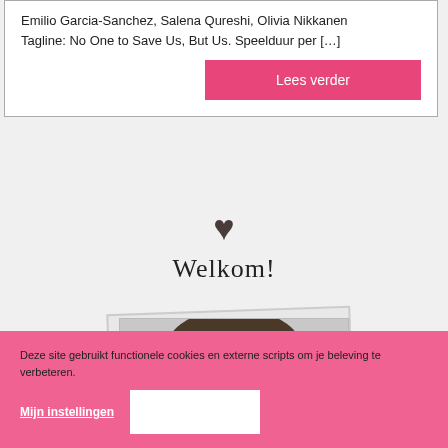Emilio Garcia-Sanchez, Salena Qureshi, Olivia Nikkanen
Tagline: No One to Save Us, But Us. Speelduur per […]
Lees verder
[Figure (illustration): Dark brown heart icon centered on page]
Welkom!
[Figure (photo): Polaroid-style framed photo of a person with dark curly/wavy hair, face visible from forehead to chin]
Deze site gebruikt functionele cookies en externe scripts om je beleving te verbeteren.
Mijn instellingen